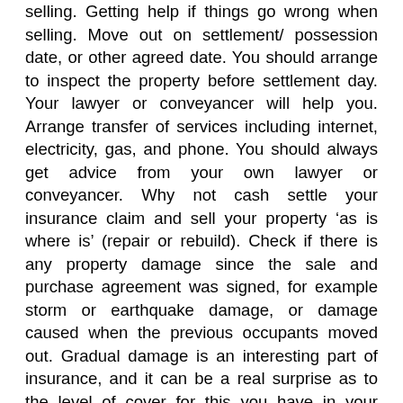selling. Getting help if things go wrong when selling. Move out on settlement/ possession date, or other agreed date. You should arrange to inspect the property before settlement day. Your lawyer or conveyancer will help you. Arrange transfer of services including internet, electricity, gas, and phone. You should always get advice from your own lawyer or conveyancer. Why not cash settle your insurance claim and sell your property ‘as is where is’ (repair or rebuild). Check if there is any property damage since the sale and purchase agreement was signed, for example storm or earthquake damage, or damage caused when the previous occupants moved out. Gradual damage is an interesting part of insurance, and it can be a real surprise as to the level of cover for this you have in your policy. You should only cancel your existing insurances after settlement has taken place. If any issues arise as a result of completing your pre-settlement inspection, then under the Agreement for Sale and Purchase the Purchaser needs